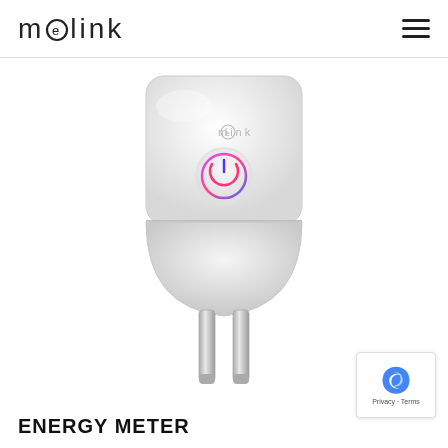MeLink — navigation header with logo and hamburger menu
[Figure (photo): White smart plug device with MeLink logo and glowing power button, showing two metal prongs extending from the bottom]
ENERGY METER